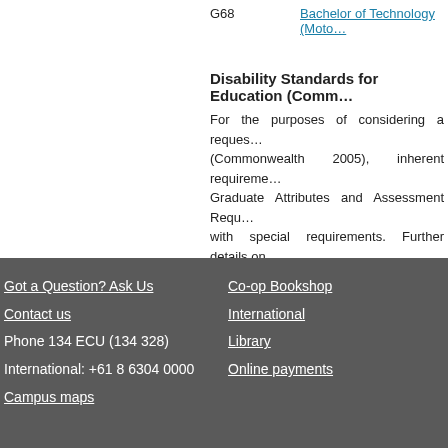G68    Bachelor of Technology (Moto…
Disability Standards for Education (Comm…
For the purposes of considering a reques… (Commonwealth 2005), inherent requireme… Graduate Attributes and Assessment Requ… with special requirements. Further details on… the Student Equity, Diversity and Disability S… http://intranet.ecu.edu.au/student/support/st…
Last Updated - Higher Education: 12/07/2011 VET: 12/…
Got a Question? Ask Us | Contact us | Phone 134 ECU (134 328) | International: +61 8 6304 0000 | Campus maps | Co-op Bookshop | International | Library | Online payments